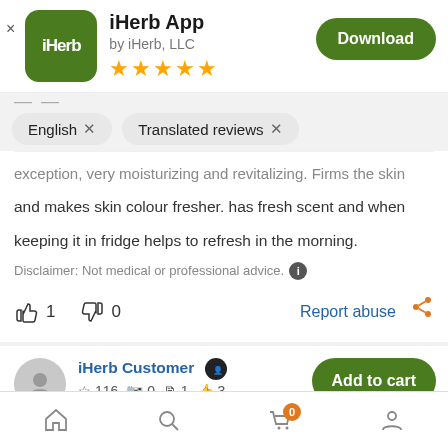iHerb App by iHerb, LLC
English × Translated reviews ×
exception, very moisturizing and revitalizing. Firms the skin and makes skin colour fresher. has fresh scent and when keeping it in fridge helps to refresh in the morning.
Disclaimer: Not medical or professional advice.
1  0  Report abuse
iHerb Customer  ☆116  📷0  🗎1  👍3
Home  Search  Cart (0)  Account